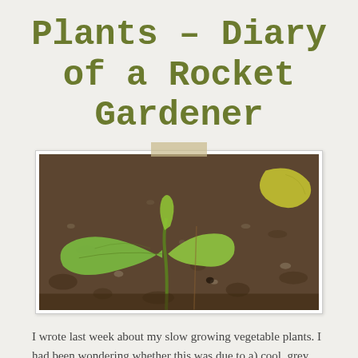Plants – Diary of a Rocket Gardener
[Figure (photo): A young vegetable seedling with two large green cotyledon leaves growing in dark soil. Another small yellowish-green leaf is visible in the upper right. The photo is displayed as a polaroid-style print with a piece of tape at the top.]
I wrote last week about my slow growing vegetable plants. I had been wondering whether this was due to a) cool, grey days, b) poor soil or c) lack of water. I'm happy this week to report that after a couple of